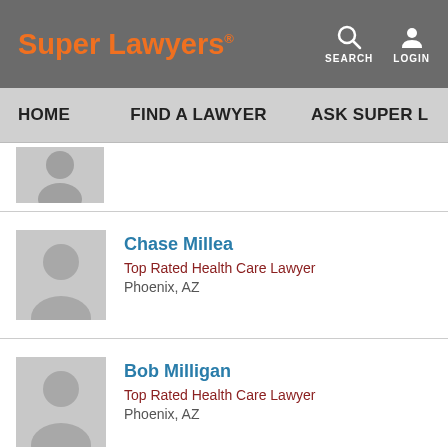Super Lawyers
HOME   FIND A LAWYER   ASK SUPER L...
[Figure (photo): Partial silhouette avatar placeholder for a lawyer profile]
Chase Millea
Top Rated Health Care Lawyer
Phoenix, AZ
[Figure (photo): Silhouette avatar placeholder for Chase Millea]
Bob Milligan
Top Rated Health Care Lawyer
Phoenix, AZ
[Figure (photo): Silhouette avatar placeholder for Bob Milligan]